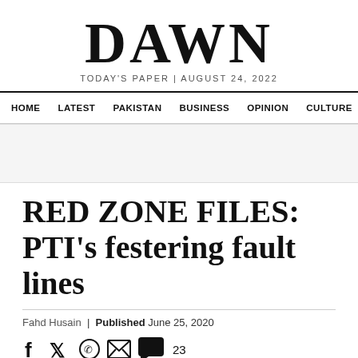DAWN
TODAY'S PAPER | AUGUST 24, 2022
HOME  LATEST  PAKISTAN  BUSINESS  OPINION  CULTURE
RED ZONE FILES: PTI's festering fault lines
Fahd Husain | Published June 25, 2020
[Figure (screenshot): Social sharing icons: Facebook, Twitter, WhatsApp, Email, Comments (23)]
[Figure (photo): Partial photo of a person, bottom of page, against black and white vertical stripe background]